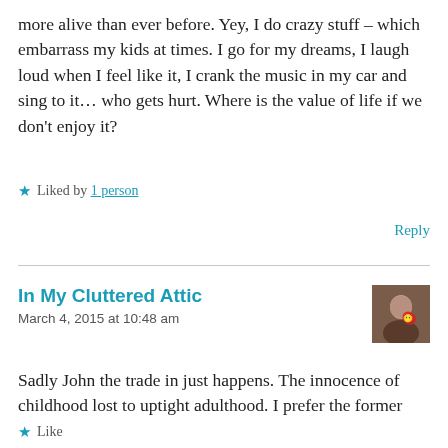more alive than ever before. Yey, I do crazy stuff – which embarrass my kids at times. I go for my dreams, I laugh loud when I feel like it, I crank the music in my car and sing to it… who gets hurt. Where is the value of life if we don't enjoy it?
Liked by 1 person
Reply
In My Cluttered Attic
March 4, 2015 at 10:48 am
Sadly John the trade in just happens. The innocence of childhood lost to uptight adulthood. I prefer the former
Like